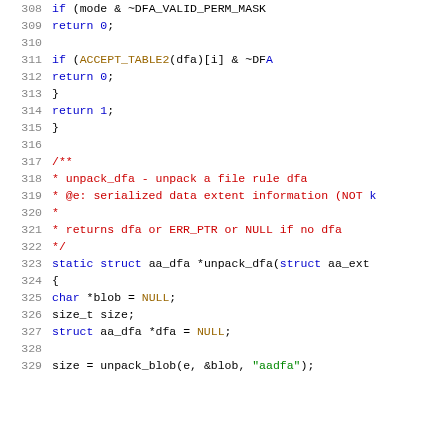[Figure (screenshot): Source code listing in C, lines 308-329, showing DFA validation and unpack_dfa function with syntax highlighting. Line numbers in gray on the left, keywords in blue, comments in red, strings in green.]